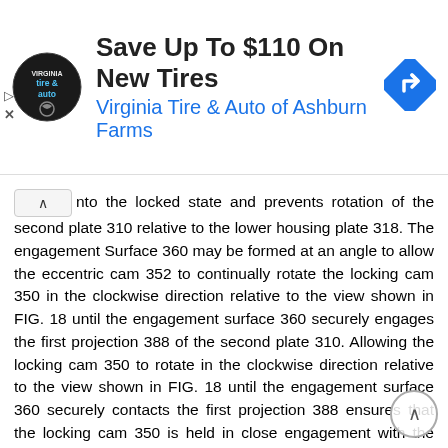[Figure (other): Advertisement banner for Virginia Tire & Auto of Ashburn Farms offering 'Save Up To $110 On New Tires']
nto the locked state and prevents rotation of the second plate 310 relative to the lower housing plate 318. The engagement Surface 360 may be formed at an angle to allow the eccentric cam 352 to continually rotate the locking cam 350 in the clockwise direction relative to the view shown in FIG. 18 until the engagement surface 360 securely engages the first projection 388 of the second plate 310. Allowing the locking cam 350 to rotate in the clockwise direction relative to the view shown in FIG. 18 until the engagement surface 360 securely contacts the first projection 388 ensures that the locking cam 350 is held in close engagement with the first projection 388 to prevent any rattling or movement between the locking cam 350 and the first projection 388 of the second plate 310. As such, the locking cam 350 concurrently serves as a locking cam to prevent rotation of the second plate 310 relative to the lowerhousing plate 318 and acts as a tolerance absorbing cam to absorb any tolerances